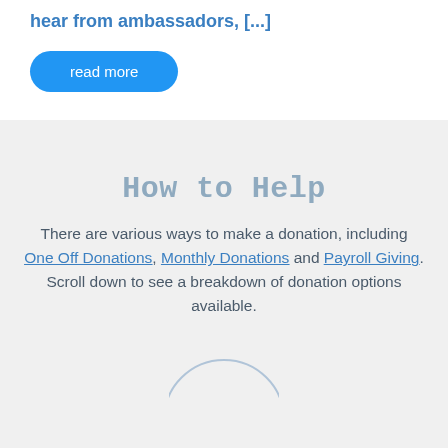hear from ambassadors, [...]
read more
How to Help
There are various ways to make a donation, including One Off Donations, Monthly Donations and Payroll Giving. Scroll down to see a breakdown of donation options available.
[Figure (illustration): Partial circle icon at the bottom of the page]